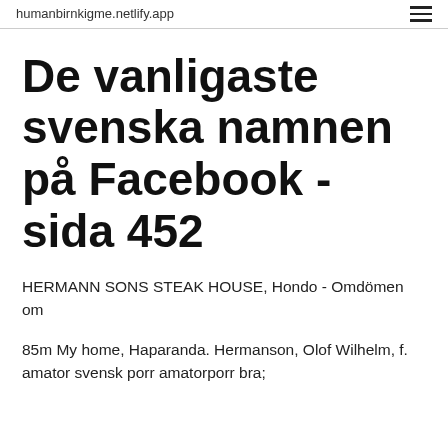humanbirnkigme.netlify.app
De vanligaste svenska namnen på Facebook - sida 452
HERMANN SONS STEAK HOUSE, Hondo - Omdömen om
85m My home, Haparanda. Hermanson, Olof Wilhelm, f. amator svensk porr amatorporr bra;